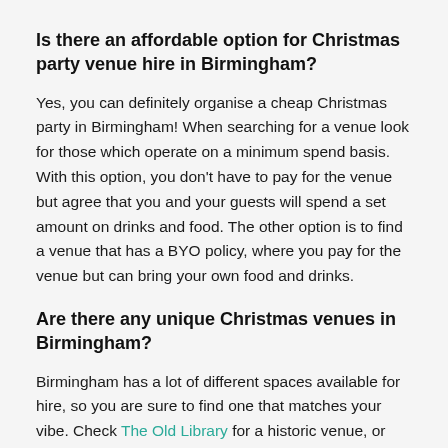Is there an affordable option for Christmas party venue hire in Birmingham?
Yes, you can definitely organise a cheap Christmas party in Birmingham! When searching for a venue look for those which operate on a minimum spend basis. With this option, you don't have to pay for the venue but agree that you and your guests will spend a set amount on drinks and food. The other option is to find a venue that has a BYO policy, where you pay for the venue but can bring your own food and drinks.
Are there any unique Christmas venues in Birmingham?
Birmingham has a lot of different spaces available for hire, so you are sure to find one that matches your vibe. Check The Old Library for a historic venue, or